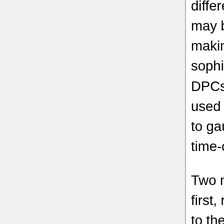different, and the selection of time-ordered data may be different. We caution the user that the map-making methods used by PLA are much less sophisticated than the ones used in the Planck DPCs. The new maps generated should only be used as a rough initial approximation, for example to gauge the effect of deselecting part of the input time-ordered data.
Two map making tools are provided by PLA: the first, ring-based map making, provides an interface to the rings-based map making software written by Keihanen et al in preparation.
The option ‘Remove temperature monopole’ subtracts the average value of the map pixels from all pixels.
The output from the ring-based map making is three FITS files each